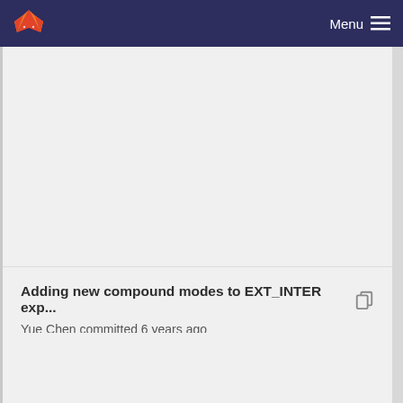Menu
[Figure (other): Empty light gray content area (upper portion of GitLab repository page)]
Adding new compound modes to EXT_INTER exp... Yue Chen committed 6 years ago